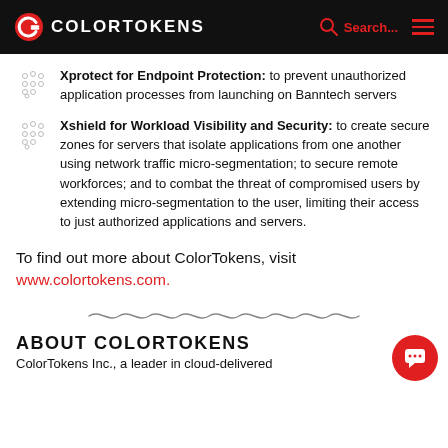COLORTOKENS
Xprotect for Endpoint Protection: to prevent unauthorized application processes from launching on Banntech servers
Xshield for Workload Visibility and Security: to create secure zones for servers that isolate applications from one another using network traffic micro-segmentation; to secure remote workforces; and to combat the threat of compromised users by extending micro-segmentation to the user, limiting their access to just authorized applications and servers.
To find out more about ColorTokens, visit www.colortokens.com.
ABOUT COLORTOKENS
ColorTokens Inc., a leader in cloud-delivered